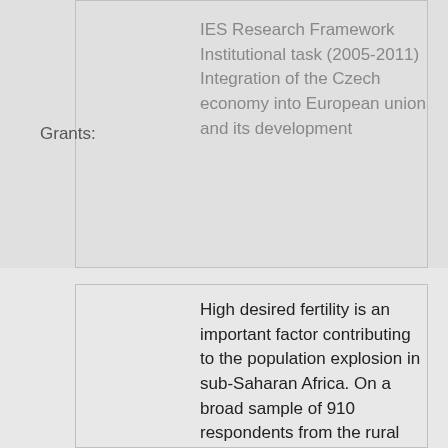|  |  |
| --- | --- |
| Grants: | IES Research Framework Institutional task (2005-2011) Integration of the Czech economy into European union and its development |
High desired fertility is an important factor contributing to the population explosion in sub-Saharan Africa. On a broad sample of 910 respondents from the rural areas of Uganda this paper assesses the impact of health risks, economic contributions from children, traditional community institutions and unequal position of women on desired fertility levels. The paper further scrutinizes how these determinants are affected by education. The results show that fear of